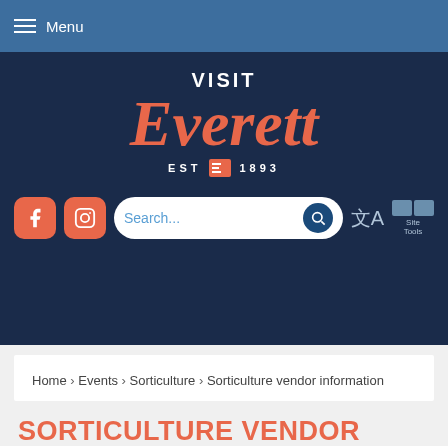Menu
[Figure (logo): Visit Everett logo with EST 1893 text on dark navy background]
Home › Events › Sorticulture › Sorticulture vendor information
SORTICULTURE VENDOR